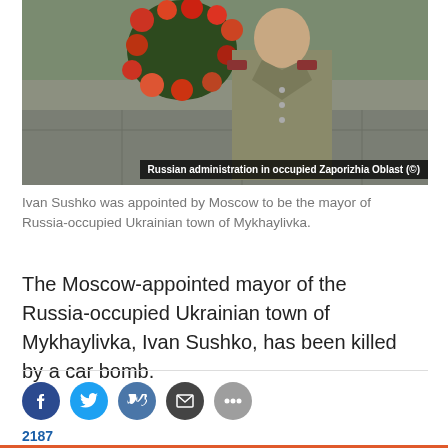[Figure (photo): Ivan Sushko in military-style uniform standing in front of a memorial with flowers and a flame, photo credited to Russian administration in occupied Zaporizhia Oblast]
Russian administration in occupied Zaporizhia Oblast (©)
Ivan Sushko was appointed by Moscow to be the mayor of Russia-occupied Ukrainian town of Mykhaylivka.
The Moscow-appointed mayor of the Russia-occupied Ukrainian town of Mykhaylivka, Ivan Sushko, has been killed by a car bomb.
2187